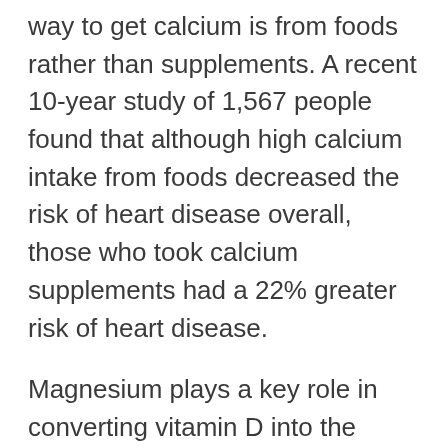way to get calcium is from foods rather than supplements. A recent 10-year study of 1,567 people found that although high calcium intake from foods decreased the risk of heart disease overall, those who took calcium supplements had a 22% greater risk of heart disease.
Magnesium plays a key role in converting vitamin D into the active form that promotes calcium absorption. An observational study of over 73,000 women found that those who consumed 400 mg of magnesium per day tended to have 2–3%